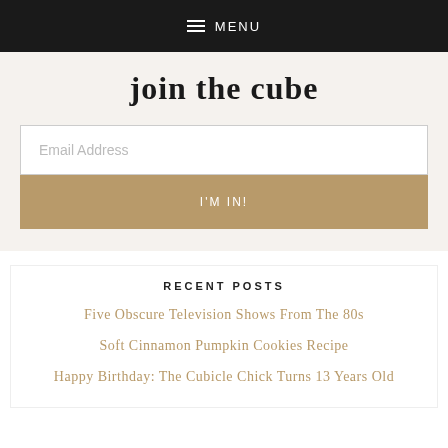MENU
join the cube
Email Address
I'M IN!
RECENT POSTS
Five Obscure Television Shows From The 80s
Soft Cinnamon Pumpkin Cookies Recipe
Happy Birthday: The Cubicle Chick Turns 13 Years Old